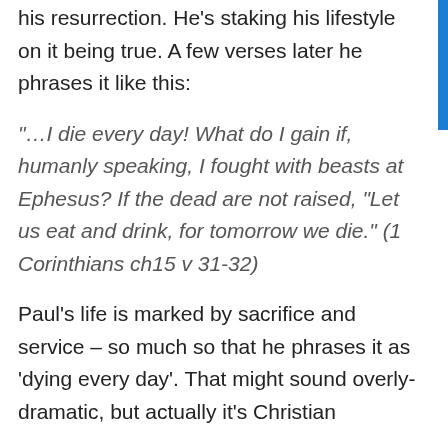his resurrection. He's staking his lifestyle on it being true. A few verses later he phrases it like this:
“…I die every day! What do I gain if, humanly speaking, I fought with beasts at Ephesus? If the dead are not raised, “Let us eat and drink, for tomorrow we die.” (1 Corinthians ch15 v 31-32)
Paul’s life is marked by sacrifice and service – so much so that he phrases it as ‘dying every day’. That might sound overly-dramatic, but actually it’s Christian